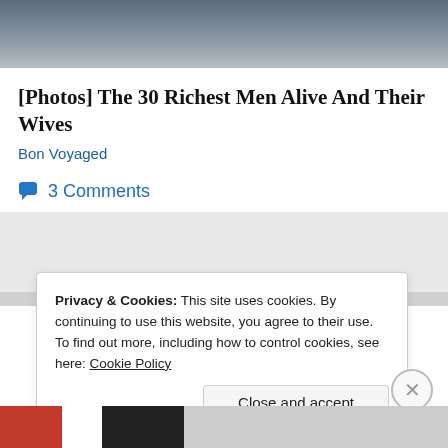[Figure (photo): Cropped photo showing two people sitting, partially visible at top of page]
[Photos] The 30 Richest Men Alive And Their Wives
Bon Voyaged
3 Comments
Privacy & Cookies: This site uses cookies. By continuing to use this website, you agree to their use.
To find out more, including how to control cookies, see here: Cookie Policy
Close and accept